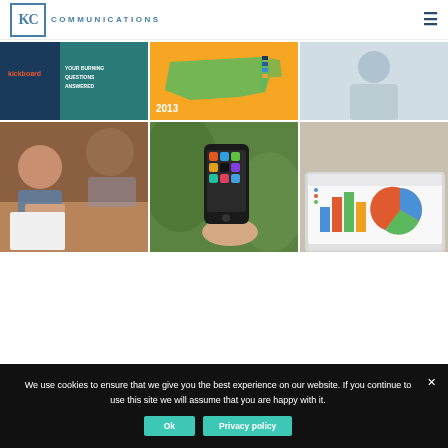KC Communications
[Figure (screenshot): Kickboard branded slide with dark teal background and text 'YOUR BURNING QUESTIONS ANSWERED']
[Figure (map): Orange infographic with US map and the year 2013]
[Figure (photo): Person in office setting, blurred background]
[Figure (photo): Students studying and writing at a table]
[Figure (photo): Hand holding a smartphone showing app icons]
[Figure (screenshot): Laptop showing bar charts and pie chart analytics dashboard]
We use cookies to ensure that we give you the best experience on our website. If you continue to use this site we will assume that you are happy with it.
Ok
Privacy policy